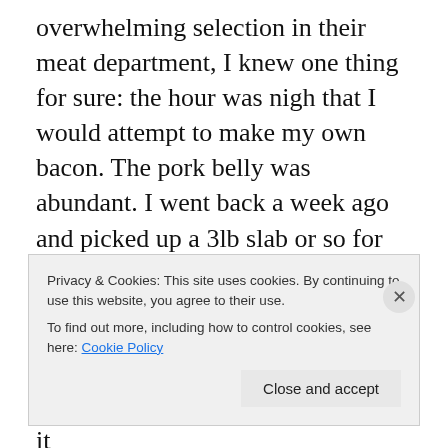overwhelming selection in their meat department, I knew one thing for sure: the hour was nigh that I would attempt to make my own bacon. The pork belly was abundant. I went back a week ago and picked up a 3lb slab or so for around $8.00.
Using Michael Ruhlman & Brian Polcyn's book Charcuterie as a guide I set out to find some pink salt. It says in the book that you will likely have to order it and have it
Privacy & Cookies: This site uses cookies. By continuing to use this website, you agree to their use.
To find out more, including how to control cookies, see here: Cookie Policy
Close and accept